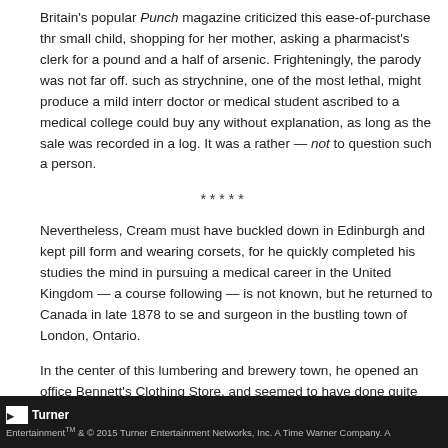Britain's popular Punch magazine criticized this ease-of-purchase thr... small child, shopping for her mother, asking a pharmacist's clerk for a pound and a half of arsenic. Frighteningly, the parody was not far off. such as strychnine, one of the most lethal, might produce a mild interr... doctor or medical student ascribed to a medical college could buy any without explanation, as long as the sale was recorded in a log. It was a rather — not to question such a person.
*****
Nevertheless, Cream must have buckled down in Edinburgh and kept pill form and wearing corsets, for he quickly completed his studies the... mind in pursuing a medical career in the United Kingdom — a course following — is not known, but he returned to Canada in late 1878 to se... and surgeon in the bustling town of London, Ontario.
In the center of this lumbering and brewery town, he opened an office Bennett's Clothing Store, and seemed to have done quite well before scandal in May, 1879. A patient, Kate Gardener, was found dead in a w...
Turner
EntertainmentTM & © 2015 Turner Entertainment Networks, Inc. A Time Warner Company. A